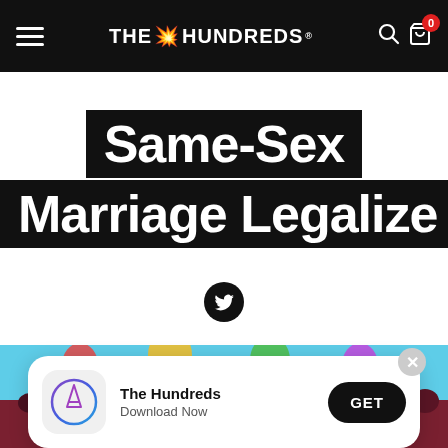THE HUNDREDS
Same-Sex Marriage Legalize
[Figure (illustration): Twitter bird icon in black circle]
[Figure (photo): Crowd celebrating outdoors with colorful flags against blue sky]
[Figure (screenshot): App download banner: The Hundreds app icon with App Store logo, name 'The Hundreds', subtitle 'Download Now', and GET button]